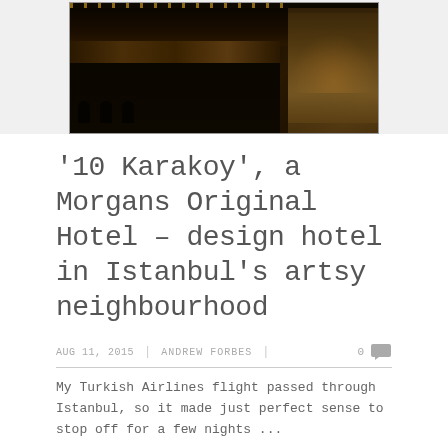[Figure (photo): Interior photo of a dark, upscale hotel bar/lounge with wooden ceiling beams, warm ambient lighting, bar counter, modern chairs, and a night city view through large windows]
‘10 Karakoy’, a Morgans Original Hotel – design hotel in Istanbul’s artsy neighbourhood
AUG 11, 2015 | ANDREW FORBES | 0
My Turkish Airlines flight passed through Istanbul, so it made just perfect sense to stop off for a few nights ...
Read More